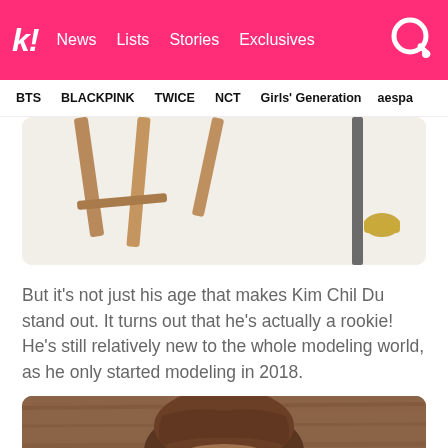k! News Lists Stories Exclusives
BTS BLACKPINK TWICE NCT Girls' Generation aespa
[Figure (photo): Bottom portion of wooden chair legs and a brass-tipped metal pole/stand on a white background]
But it's not just his age that makes Kim Chil Du stand out. It turns out that he's actually a rookie! He's still relatively new to the whole modeling world, as he only started modeling in 2018.
[Figure (photo): Top of a person's head with brown hair, partial face visible, warm brown wooden background]